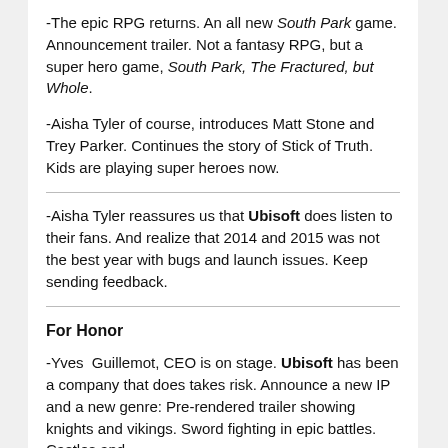-The epic RPG returns. An all new South Park game. Announcement trailer. Not a fantasy RPG, but a super hero game, South Park, The Fractured, but Whole.
-Aisha Tyler of course, introduces Matt Stone and Trey Parker. Continues the story of Stick of Truth. Kids are playing super heroes now.
-Aisha Tyler reassures us that Ubisoft does listen to their fans. And realize that 2014 and 2015 was not the best year with bugs and launch issues. Keep sending feedback.
For Honor
-Yves Guillemot, CEO is on stage. Ubisoft has been a company that does takes risk. Announce a new IP and a new genre: Pre-rendered trailer showing knights and vikings. Sword fighting in epic battles. Castles and